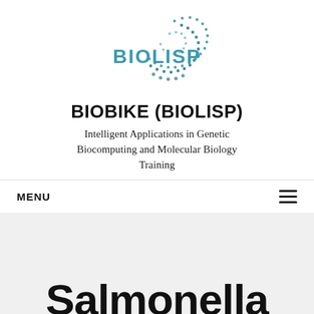[Figure (logo): BIOLISP logo: text 'BIOLISP' in teal with dotted spiral arc design above]
BIOBIKE (BIOLISP)
Intelligent Applications in Genetic Biocomputing and Molecular Biology Training
MENU
Salmonella